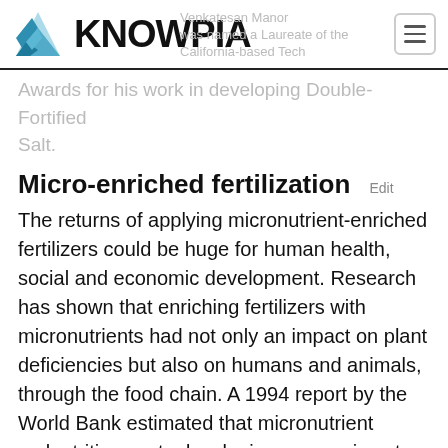KNOWPIA
Awards for his work in developing Double-Fortified Salt.
Micro-enriched fertilization  Edit
The returns of applying micronutrient-enriched fertilizers could be huge for human health, social and economic development. Research has shown that enriching fertilizers with micronutrients had not only an impact on plant deficiencies but also on humans and animals, through the food chain. A 1994 report by the World Bank estimated that micronutrient malnutrition costs developing economies at least 5 percent of gross domestic product.[23] The Asian Development Bank has summarized the benefits of eliminating micronutrient deficiencies as follows: